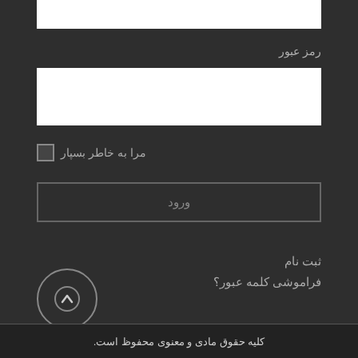[Figure (screenshot): White input field for password at top]
رمز عبور
[Figure (screenshot): White input field for password entry]
مرا به خاطر بسپار
ورود
ثبت نام
فراموشی کلمه عبور؟
[Figure (illustration): Circle button with upward arrow icon]
کلیه حقوق مادی و معنوی محفوظ است.